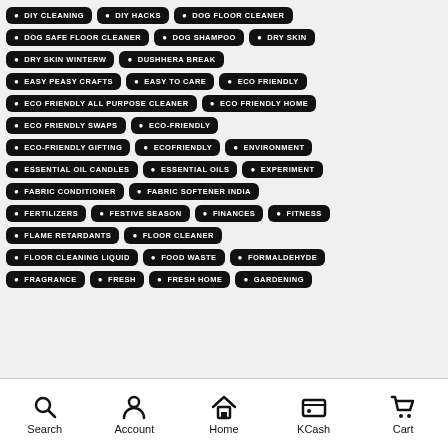DIY CLEANING
DIY HACKS
DOG FLOOR CLEANER
DOG SAFE FLOOR CLEANER
DOG SHAMPOO
DRY SKIN
DRY SKIN WINTERW
DUSHHERA BREAK
EASY PEASY CRAFTS
EASY TO CARE
ECO FRIENDLY
ECO FRIENDLY ALL PURPOSE CLEANER
ECO FRIENDLY HOME
ECO FRIENDLY SWAPS
ECO-FRIENDLY
ECO-FRIENDLY GIFTING
ECOFRIENDLY
ENVIRONMENT
ESSENTIAL OIL CANDLES
ESSENTIAL OILS
EXPERIMENT
FABRIC CONDITIONER
FABRIC SOFTENER INDIA
FERTILIZERS
FESTIVE SEASON
FINANCES
FITNESS
FLAME RETARDANTS
FLOOR CLEANER
FLOOR CLEANING LIQUID
FOOD WASTE
FORMALDEHYDE
FRAGRANCE
FRESH
FRESH HOME
GARDENING
Search  Account  Home  KCash  Cart